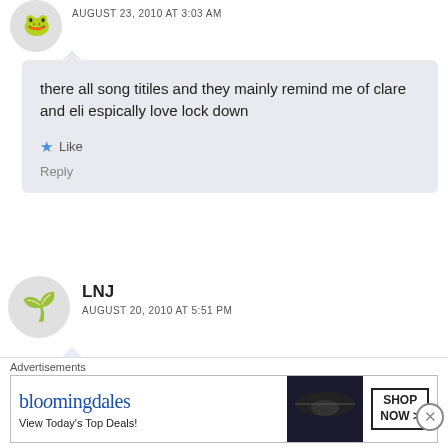AUGUST 23, 2010 AT 3:03 AM
there all song titiles and they mainly remind me of clare and eli espically love lock down
Like
Reply
LNJ
AUGUST 20, 2010 AT 5:51 PM
Ah, I'm glad they kept up with each episode being a
Advertisements
[Figure (other): Bloomingdale's advertisement banner: brand name in blue, tagline 'View Today's Top Deals!', woman in hat, 'SHOP NOW >' button]